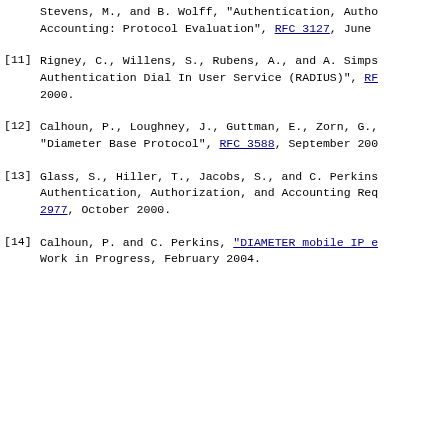Stevens, M., and B. Wolff, "Authentication, Authorization, Accounting: Protocol Evaluation", RFC 3127, June...
[11] Rigney, C., Willens, S., Rubens, A., and A. Simpson, "Remote Authentication Dial In User Service (RADIUS)", RFC..., 2000.
[12] Calhoun, P., Loughney, J., Guttman, E., Zorn, G., "Diameter Base Protocol", RFC 3588, September 200...
[13] Glass, S., Hiller, T., Jacobs, S., and C. Perkins, "Authentication, Authorization, and Accounting Requirements for Mobile IP", RFC 2977, October 2000.
[14] Calhoun, P. and C. Perkins, "DIAMETER mobile IP e...", Work in Progress, February 2004.